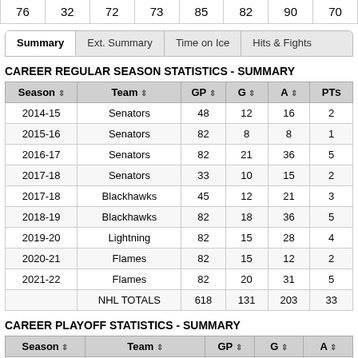| 76 | 32 | 72 | 73 | 85 | 82 | 90 | 70 |
| --- | --- | --- | --- | --- | --- | --- | --- |
Summary | Ext. Summary | Time on Ice | Hits & Fights
CAREER REGULAR SEASON STATISTICS - SUMMARY
| Season | Team | GP | G | A | PTS |
| --- | --- | --- | --- | --- | --- |
| 2014-15 | Senators | 48 | 12 | 16 | 2 |
| 2015-16 | Senators | 82 | 8 | 8 | 1 |
| 2016-17 | Senators | 82 | 21 | 36 | 5 |
| 2017-18 | Senators | 33 | 10 | 15 | 2 |
| 2017-18 | Blackhawks | 45 | 12 | 21 | 3 |
| 2018-19 | Blackhawks | 82 | 18 | 36 | 5 |
| 2019-20 | Lightning | 82 | 15 | 28 | 4 |
| 2020-21 | Flames | 82 | 15 | 12 | 2 |
| 2021-22 | Flames | 82 | 20 | 31 | 5 |
|  | NHL TOTALS | 618 | 131 | 203 | 33 |
CAREER PLAYOFF STATISTICS - SUMMARY
| Season | Team | GP | G | A |
| --- | --- | --- | --- | --- |
| 2014-15 | Senators | 5 | 1 | 2 |